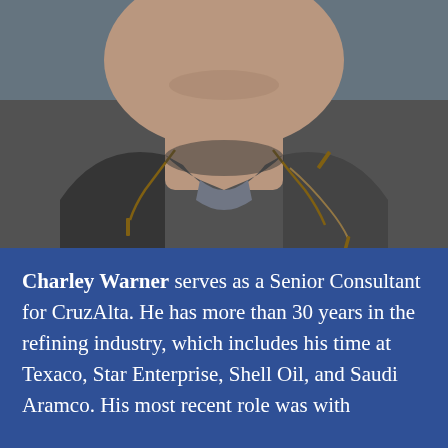[Figure (photo): Close-up photo of a man's neck and collar area, wearing a dark shirt/jacket with sunglasses hanging around his neck, photographed outdoors]
Charley Warner serves as a Senior Consultant for CruzAlta. He has more than 30 years in the refining industry, which includes his time at Texaco, Star Enterprise, Shell Oil, and Saudi Aramco. His most recent role was with